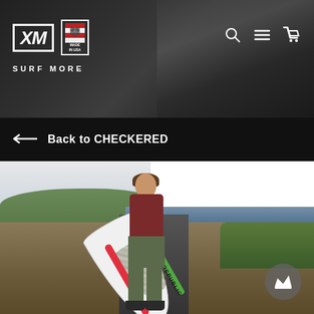[Figure (screenshot): XM Surf More website header with dark metallic background showing mechanical parts. XM logo (white box with bold italic text) and 'Made in USA' badge on left. 'SURF MORE' text below logos. Search, menu, and cart icons on right.]
← Back to CHECKERED
[Figure (photo): Young surfer carrying a white surfboard with California Republic (Cali bear) print and red/green stripes, wearing a dark red shirt and olive shorts, standing on a dirt path overlooking a beach with ocean waves and hills in the background. Large white space visible at top right.]